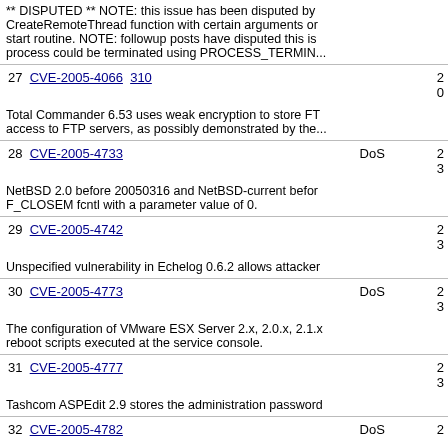** DISPUTED ** NOTE: this issue has been disputed by CreateRemoteThread function with certain arguments or start routine. NOTE: followup posts have disputed this is process could be terminated using PROCESS_TERMIN...
27  CVE-2005-4066  310
Total Commander 6.53 uses weak encryption to store FT access to FTP servers, as possibly demonstrated by the...
28  CVE-2005-4733  DoS
NetBSD 2.0 before 20050316 and NetBSD-current before F_CLOSEM fcntl with a parameter value of 0.
29  CVE-2005-4742
Unspecified vulnerability in Echelog 0.6.2 allows attacker
30  CVE-2005-4773  DoS
The configuration of VMware ESX Server 2.x, 2.0.x, 2.1.x reboot scripts executed at the service console.
31  CVE-2005-4777
Tashcom ASPEdit 2.9 stores the administration password
32  CVE-2005-4782  DoS